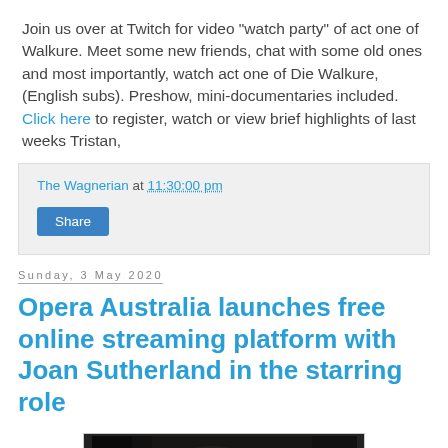Join us over at Twitch for video "watch party" of act one of Walkure. Meet some new friends, chat with some old ones and most importantly, watch act one of Die Walkure, (English subs). Preshow, mini-documentaries included. Click here to register, watch or view brief highlights of last weeks Tristan,
The Wagnerian at 11:30:00 pm
Share
Sunday, 3 May 2020
Opera Australia launches free online streaming platform with Joan Sutherland in the starring role
[Figure (photo): Black and white photograph of two opera performers on stage, a woman with long hair and a man with a beard, in costume]